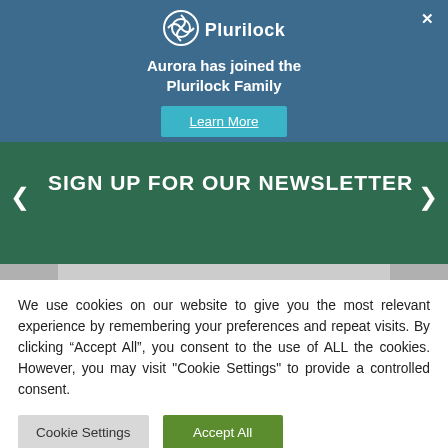[Figure (logo): Plurilock logo with circular icon and white text on blue background]
Aurora has joined the Plurilock Family
Learn More
SIGN UP FOR OUR NEWSLETTER
We use cookies on our website to give you the most relevant experience by remembering your preferences and repeat visits. By clicking “Accept All”, you consent to the use of ALL the cookies. However, you may visit "Cookie Settings" to provide a controlled consent.
Cookie Settings
Accept All